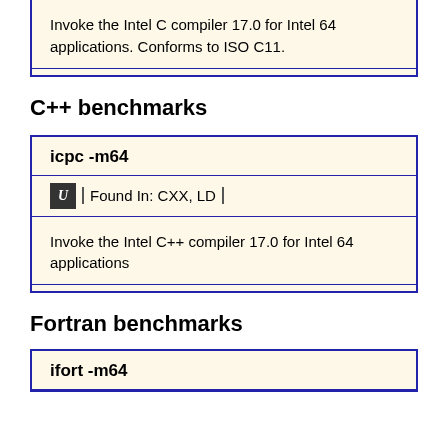Invoke the Intel C compiler 17.0 for Intel 64 applications. Conforms to ISO C11.
C++ benchmarks
icpc -m64
Found In: CXX, LD
Invoke the Intel C++ compiler 17.0 for Intel 64 applications
Fortran benchmarks
ifort -m64